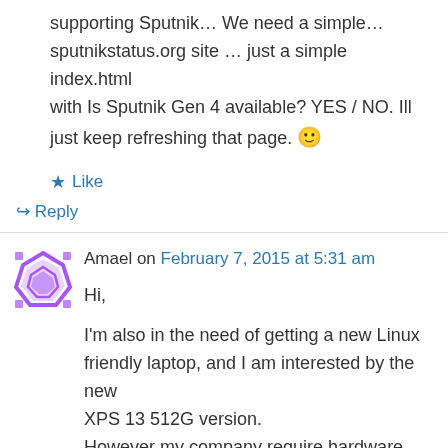supporting Sputnik… We need a simple… sputnikstatus.org site … just a simple index.html with Is Sputnik Gen 4 available? YES / NO. Ill just keep refreshing that page. 🙂
★ Like
↳ Reply
Amael on February 7, 2015 at 5:31 am
Hi,
I'm also in the need of getting a new Linux friendly laptop, and I am interested by the new XPS 13 512G version. However my company require hardware encryption to be supported for the SSD. I cannot